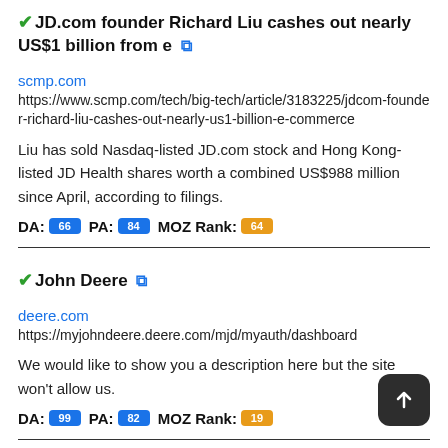JD.com founder Richard Liu cashes out nearly US$1 billion from e
scmp.com
https://www.scmp.com/tech/big-tech/article/3183225/jdcom-founder-richard-liu-cashes-out-nearly-us1-billion-e-commerce
Liu has sold Nasdaq-listed JD.com stock and Hong Kong-listed JD Health shares worth a combined US$988 million since April, according to filings.
DA: 66 PA: 84 MOZ Rank: 64
John Deere
deere.com
https://myjohndeere.deere.com/mjd/myauth/dashboard
We would like to show you a description here but the site won't allow us.
DA: 99 PA: 82 MOZ Rank: 19
SAP
successfactors.com
https://performancemanager successfactors.com/[b...